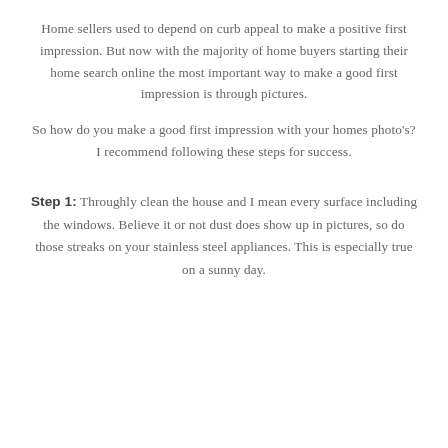Home sellers used to depend on curb appeal to make a positive first impression. But now with the majority of home buyers starting their home search online the most important way to make a good first impression is through pictures.
So how do you make a good first impression with your homes photo's? I recommend following these steps for success.
Step 1: Throughly clean the house and I mean every surface including the windows. Believe it or not dust does show up in pictures, so do those streaks on your stainless steel appliances. This is especially true on a sunny day.